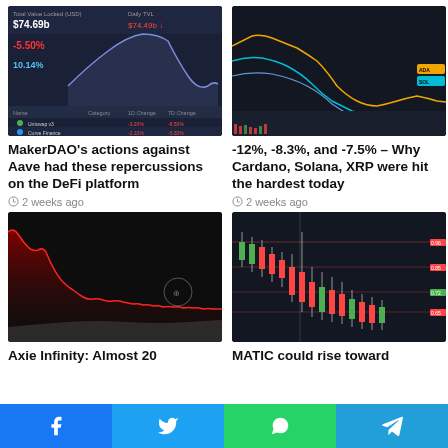[Figure (screenshot): Dark trading dashboard screenshot showing price data, percentage changes, and a line chart on dark background]
[Figure (screenshot): Multi-line cryptocurrency price chart with orange, cyan, and blue lines on dark background]
MakerDAO’s actions against Aave had these repercussions on the DeFi platform
2 weeks ago
-12%, -8.3%, and -7.5% – Why Cardano, Solana, XRP were hit the hardest today
2 weeks ago
[Figure (screenshot): Red area chart showing declining price data on dark background]
[Figure (screenshot): Candlestick chart with horizontal level lines on dark background]
Axie Infinity: Almost 20
MATIC could rise toward